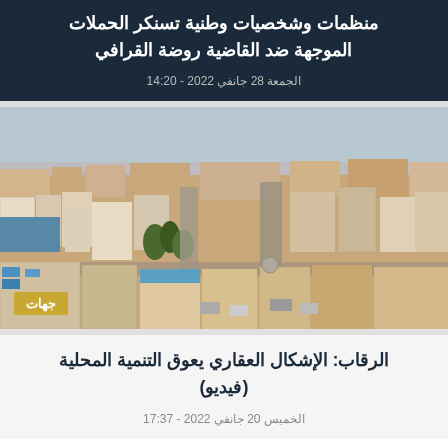منظمات وشخصيات وطنية تسنكر الحملات الموجهة ضد القاضية روضة القرافي
الجمعة 28 جانفي 2022 - 14:20
[Figure (photo): Aerial view of a Libyan or North African city with buildings, roads, palm trees and sandy terrain]
جهات
الرقاب: الإشكال العقاري يعوق التنمية المحلية (فيديو)
الخميس 20 جانفي 2022 - 17:37